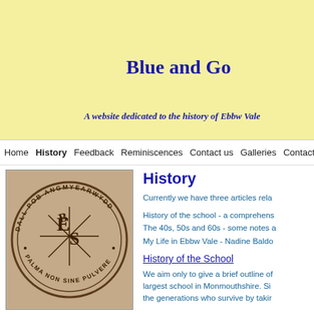Blue and Go
A website dedicated to the history of Ebbw Vale
Home  History  Feedback  Reminiscences  Contact us  Galleries  Contact requ
[Figure (illustration): Circular school seal/crest with text 'DALL POB ANGMYEARWYDD' around the top, 'PALMA NON SINE PULVERE' around the bottom, with an ornate monogram in the center]
History
Currently we have three articles rela
History of the school - a comprehens
The 40s, 50s and 60s - some notes a
My Life in Ebbw Vale - Nadine Baldo
History of the School
We aim only to give a brief outline of the largest school in Monmouthshire. Si the generations who survive by takir